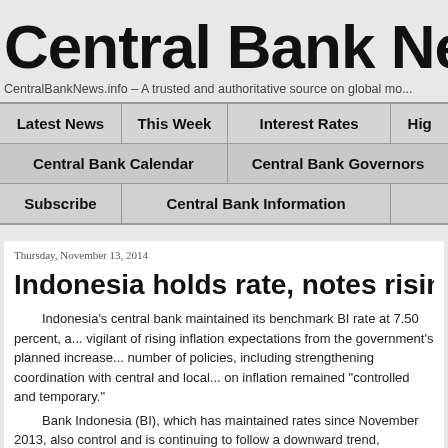Central Bank News
CentralBankNews.info – A trusted and authoritative source on global mo...
| Latest News | This Week | Interest Rates | Hig... |
| --- | --- | --- | --- |
| Central Bank Calendar | Central Bank Governors |  |
| Subscribe | Central Bank Information |  |
Thursday, November 13, 2014
Indonesia holds rate, notes rising inflati...
Indonesia's central bank maintained its benchmark BI rate at 7.50 percent, a... vigilant of rising inflation expectations from the government's planned increase... number of policies, including strengthening coordination with central and local... on inflation remained "controlled and temporary."
Bank Indonesia (BI), which has maintained rates since November 2013, also control and is continuing to follow a downward trend, bolstering the prospect...